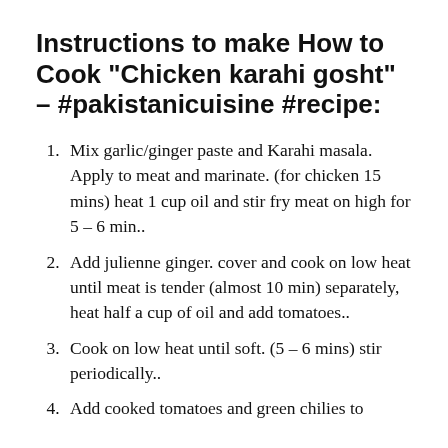Instructions to make How to Cook "Chicken karahi gosht" – #pakistanicuisine #recipe:
Mix garlic/ginger paste and Karahi masala. Apply to meat and marinate. (for chicken 15 mins) heat 1 cup oil and stir fry meat on high for 5 – 6 min..
Add julienne ginger. cover and cook on low heat until meat is tender (almost 10 min) separately, heat half a cup of oil and add tomatoes..
Cook on low heat until soft. (5 – 6 mins) stir periodically..
Add cooked tomatoes and green chilies to